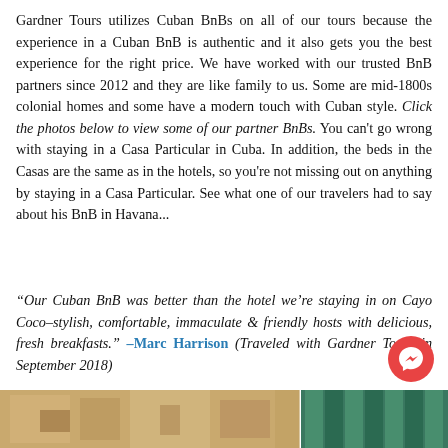Gardner Tours utilizes Cuban BnBs on all of our tours because the experience in a Cuban BnB is authentic and it also gets you the best experience for the right price. We have worked with our trusted BnB partners since 2012 and they are like family to us. Some are mid-1800s colonial homes and some have a modern touch with Cuban style. Click the photos below to view some of our partner BnBs. You can't go wrong with staying in a Casa Particular in Cuba. In addition, the beds in the Casas are the same as in the hotels, so you're not missing out on anything by staying in a Casa Particular. See what one of our travelers had to say about his BnB in Havana...
“Our Cuban BnB was better than the hotel we’re staying in on Cayo Coco–stylish, comfortable, immaculate & friendly hosts with delicious, fresh breakfasts.” –Marc Harrison (Traveled with Gardner Tours in September 2018)
[Figure (photo): Bottom strip showing photos of Cuban BnB interiors — left section shows a warm-toned room interior, right section shows green curtains and architectural details]